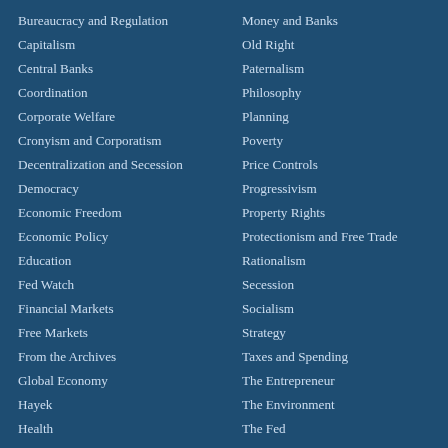Bureaucracy and Regulation
Capitalism
Central Banks
Coordination
Corporate Welfare
Cronyism and Corporatism
Decentralization and Secession
Democracy
Economic Freedom
Economic Policy
Education
Fed Watch
Financial Markets
Free Markets
From the Archives
Global Economy
Hayek
Health
Money and Banks
Old Right
Paternalism
Philosophy
Planning
Poverty
Price Controls
Progressivism
Property Rights
Protectionism and Free Trade
Rationalism
Secession
Socialism
Strategy
Taxes and Spending
The Entrepreneur
The Environment
The Fed